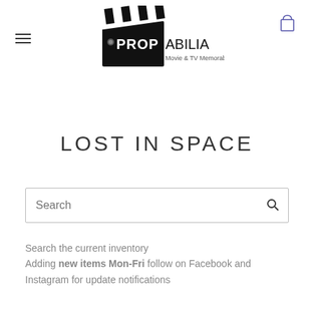[Figure (logo): Propabilia Movie & TV Memorabilia logo with film clapperboard]
LOST IN SPACE
Search
Search the current inventory
Adding new items Mon-Fri follow on Facebook and Instagram for update notifications